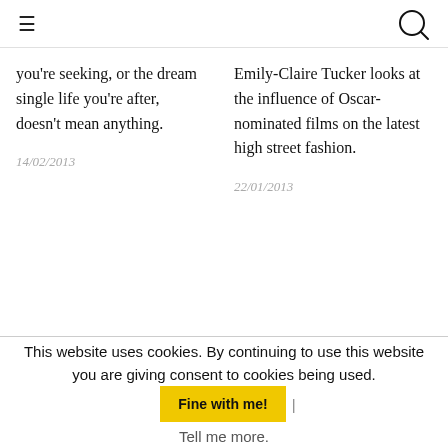≡ [search icon]
you're seeking, or the dream single life you're after, doesn't mean anything.
14/02/2013
Emily-Claire Tucker looks at the influence of Oscar-nominated films on the latest high street fashion.
22/01/2013
This website uses cookies. By continuing to use this website you are giving consent to cookies being used.
Fine with me! |
Tell me more.